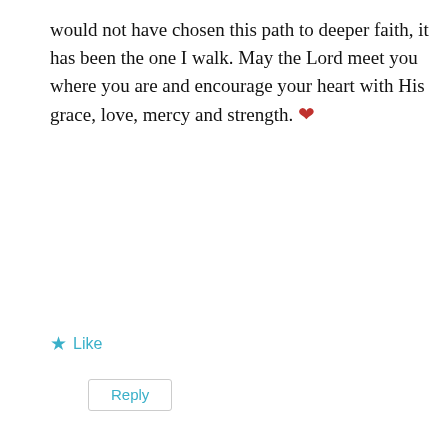would not have chosen this path to deeper faith, it has been the one I walk. May the Lord meet you where you are and encourage your heart with His grace, love, mercy and strength. ❤
★ Like
Reply
Leave a Reply